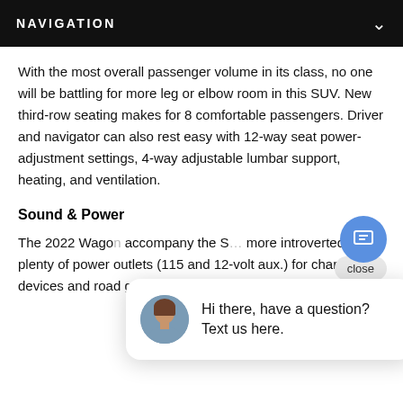NAVIGATION
With the most overall passenger volume in its class, no one will be battling for more leg or elbow room in this SUV. New third-row seating makes for 8 comfortable passengers. Driver and navigator can also rest easy with 12-way seat power-adjustment settings, 4-way adjustable lumbar support, heating, and ventilation.
Sound & Power
The 2022 Wagon… accompany the S… more introverted… plenty of power outlets (115 and 12-volt aux.) for charging devices and road gear.
[Figure (other): Chat widget with avatar of a woman and text: Hi there, have a question? Text us here.]